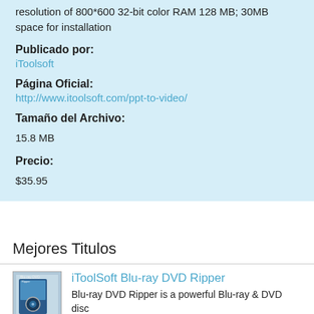resolution of 800*600 32-bit color RAM 128 MB; 30MB space for installation
Publicado por:
iToolsoft
Página Oficial:
http://www.itoolsoft.com/ppt-to-video/
Tamaño del Archivo:
15.8 MB
Precio:
$35.95
Mejores Titulos
iToolSoft Blu-ray DVD Ripper
Blu-ray DVD Ripper is a powerful Blu-ray & DVD disc